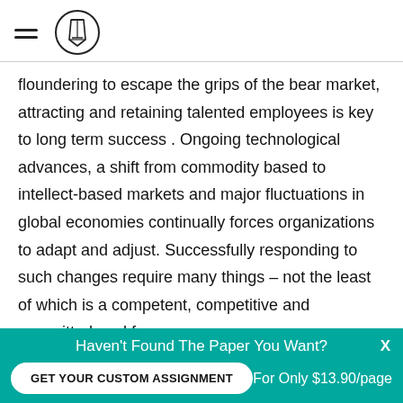[hamburger menu icon] [pencil/logo icon]
floundering to escape the grips of the bear market, attracting and retaining talented employees is key to long term success . Ongoing technological advances, a shift from commodity based to intellect-based markets and major fluctuations in global economies continually forces organizations to adapt and adjust. Successfully responding to such changes require many things – not the least of which is a competent, competitive and committed workforce.
Haven't Found The Paper You Want? GET YOUR CUSTOM ASSIGNMENT For Only $13.90/page x